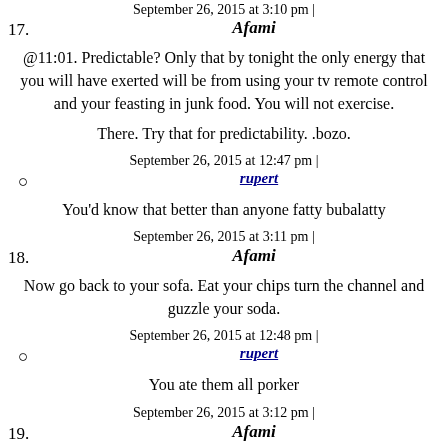September 26, 2015 at 3:10 pm |
17. Afami
@11:01. Predictable? Only that by tonight the only energy that you will have exerted will be from using your tv remote control and your feasting in junk food. You will not exercise.
There. Try that for predictability. .bozo.
September 26, 2015 at 12:47 pm |
rupert
You'd know that better than anyone fatty bubalatty
September 26, 2015 at 3:11 pm |
18. Afami
Now go back to your sofa. Eat your chips turn the channel and guzzle your soda.
September 26, 2015 at 12:48 pm |
rupert
You ate them all porker
September 26, 2015 at 3:12 pm |
19. Afami